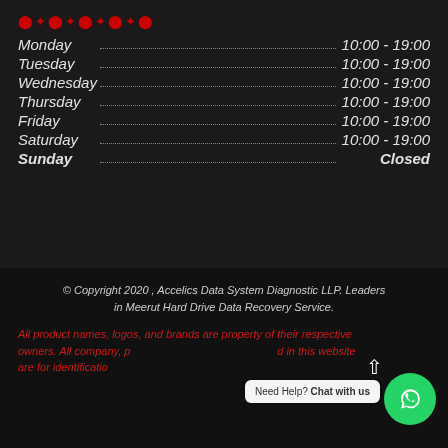[Figure (other): Red decorative dots/icons row at top]
| Day | Hours |
| --- | --- |
| Monday | 10:00 - 19:00 |
| Tuesday | 10:00 - 19:00 |
| Wednesday | 10:00 - 19:00 |
| Thursday | 10:00 - 19:00 |
| Friday | 10:00 - 19:00 |
| Saturday | 10:00 - 19:00 |
| Sunday | Closed |
© Copyright 2020 , Accelics Data System Diagnostic LLP. Leaders in Meerut Hard Drive Data Recovery Service.
All product names, logos, and brands are property of their respective owners. All company, product and service names used in this website are for identification purposes only.